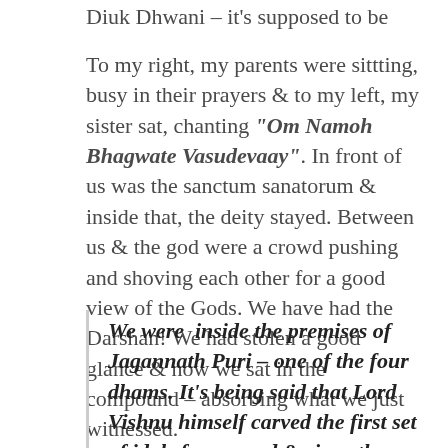Diuk Dhwani – it's supposed to be auspicious.
To my right, my parents were sittting, busy in their prayers & to my left, my sister sat, chanting "Om Namoh Bhagwate Vasudevaay". In front of us was the sanctum sanatorum & inside that, the deity stayed. Between us & the god were a crowd pushing and shoving each other for a good view of the Gods. We have had the Darshan! We had stolen a good glance & now we sat in the compound – absorbing what we just witnessed.
We were inside the premises of Jagannath Puri – one of the four dhams. It's being said that Lord Vishnu himself carved the first set of idols from wood & since then the temple has kept the ritual